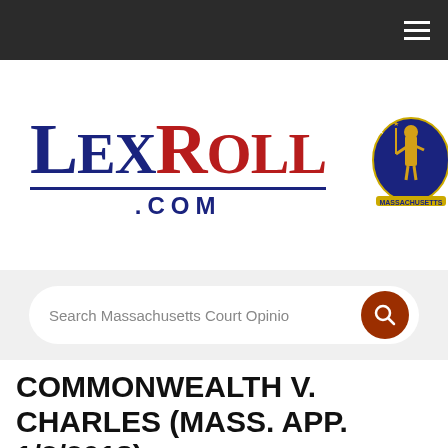[Figure (logo): LexRoll.com logo with 'Lex' in dark navy and 'Roll' in dark red serif font, with .COM below and a Massachusetts state seal to the right]
Search Massachusetts Court Opinio
COMMONWEALTH v. CHARLES (Mass. App. 1/2/2018)